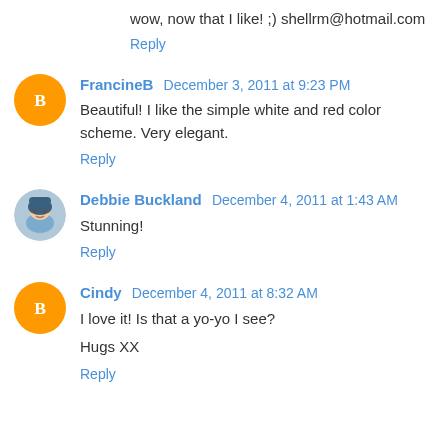wow, now that I like! ;) shellrm@hotmail.com
Reply
FrancineB December 3, 2011 at 9:23 PM
Beautiful! I like the simple white and red color scheme. Very elegant.
Reply
Debbie Buckland December 4, 2011 at 1:43 AM
Stunning!
Reply
Cindy December 4, 2011 at 8:32 AM
I love it! Is that a yo-yo I see?
Hugs XX
Reply